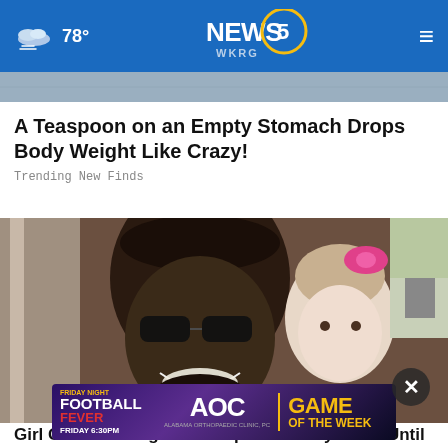78° NEWS 5 WKRG
A Teaspoon on an Empty Stomach Drops Body Weight Like Crazy!
Trending New Finds
[Figure (photo): A smiling man wearing sunglasses and a dark cap poses in a selfie with a young girl wearing a pink bow in her hair.]
[Figure (infographic): Ad banner: FRIDAY NIGHT FOOTBALL FEVER – AOC – GAME OF THE WEEK, FRIDAY 6:30PM, Alabama Orthopaedic Clinic, PC]
Girl Gives Garbage Man Cupcake Every Week Until